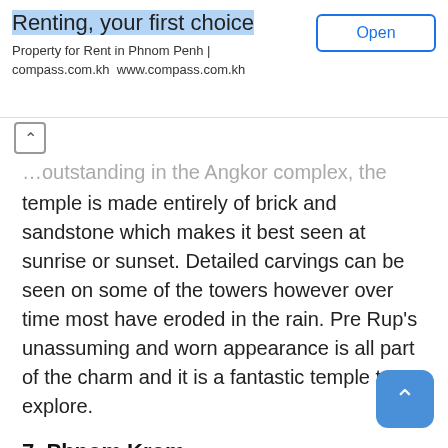[Figure (screenshot): Mobile app advertisement banner for compass.com.kh — 'Renting, your first choice', Property for Rent in Phnom Penh, with an Open button]
…outstanding in the Angkor complex, the temple is made entirely of brick and sandstone which makes it best seen at sunrise or sunset. Detailed carvings can be seen on some of the towers however over time most have eroded in the rain. Pre Rup's unassuming and worn appearance is all part of the charm and it is a fantastic temple to explore.
7. Phnom Krom
Located roughly 12 kilometres from Siem Reap, Phnom Krom temple sits on top of a hill shrouded by local legend. The shrine is dedicated to Hindu g… Shiva, Vishnu and Brahma with the temple dating back as far as the 9th century. The climb to the top can be ste…